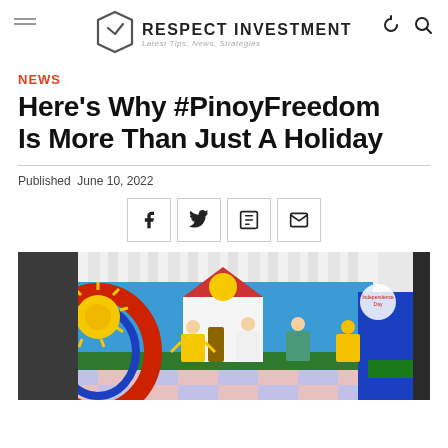RESPECT INVESTMENT — Latest Tips, News, Strategies
NEWS
Here's Why #PinoyFreedom Is More Than Just A Holiday
Published  June 10, 2022
[Figure (infographic): Social sharing buttons: Facebook, Twitter, Flipboard, Email]
[Figure (photo): Philippine Independence Day display at a mall with colorful decorations including a large Philippine sun emblem in yellow, red arch, blue structures, mannequins in traditional Filipino attire, and a painted backdrop of a church with sun design]